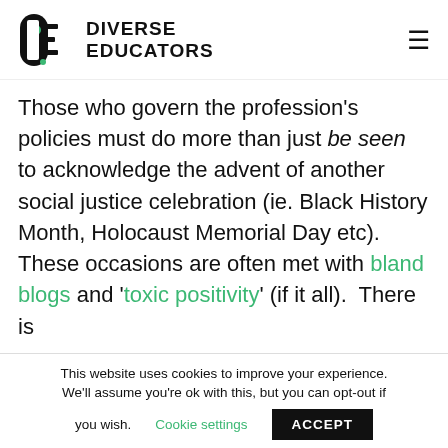DIVERSE EDUCATORS
Those who govern the profession’s policies must do more than just be seen to acknowledge the advent of another social justice celebration (ie. Black History Month, Holocaust Memorial Day etc). These occasions are often met with bland blogs and ‘toxic positivity’ (if it all). There is
This website uses cookies to improve your experience. We’ll assume you’re ok with this, but you can opt-out if you wish. Cookie settings ACCEPT